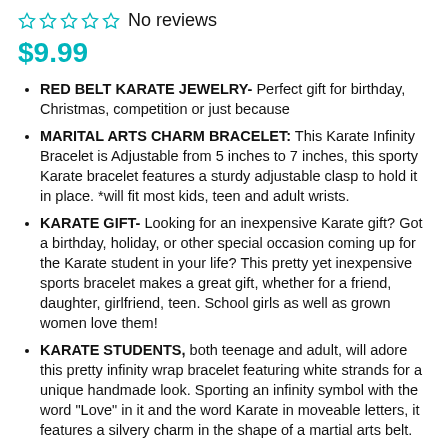☆ ☆ ☆ ☆ ☆ No reviews
$9.99
RED BELT KARATE JEWELRY- Perfect gift for birthday, Christmas, competition or just because
MARITAL ARTS CHARM BRACELET: This Karate Infinity Bracelet is Adjustable from 5 inches to 7 inches, this sporty Karate bracelet features a sturdy adjustable clasp to hold it in place. *will fit most kids, teen and adult wrists.
KARATE GIFT- Looking for an inexpensive Karate gift? Got a birthday, holiday, or other special occasion coming up for the Karate student in your life? This pretty yet inexpensive sports bracelet makes a great gift, whether for a friend, daughter, girlfriend, teen. School girls as well as grown women love them!
KARATE STUDENTS, both teenage and adult, will adore this pretty infinity wrap bracelet featuring white strands for a unique handmade look. Sporting an infinity symbol with the word "Love" in it and the word Karate in moveable letters, it features a silvery charm in the shape of a martial arts belt.
Click Add To Cart and get yours today!